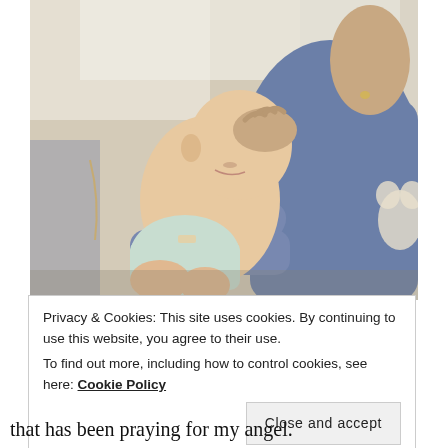[Figure (photo): A person in a blue sweatshirt holding and cradling a sleeping baby wearing a diaper. The person wears a watch. Background shows bedding/pillows.]
Privacy & Cookies: This site uses cookies. By continuing to use this website, you agree to their use.
To find out more, including how to control cookies, see here: Cookie Policy
Close and accept
that has been praying for my angel.